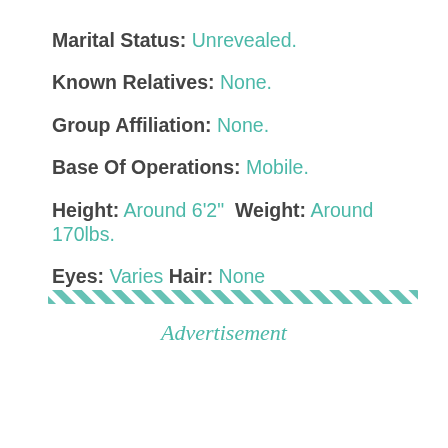Marital Status: Unrevealed.
Known Relatives: None.
Group Affiliation: None.
Base Of Operations: Mobile.
Height: Around 6'2" Weight: Around 170lbs.
Eyes: Varies Hair: None
[Figure (other): Diagonal hatched stripe divider pattern in teal/green color]
Advertisement